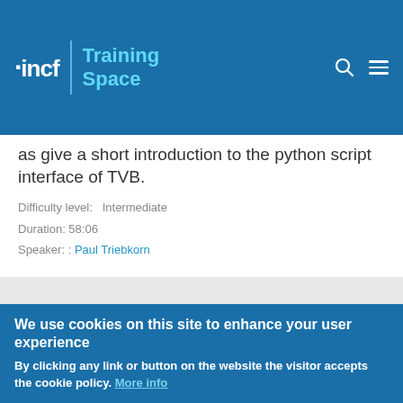INCF Training Space
as give a short introduction to the python script interface of TVB.
Difficulty level:   Intermediate
Duration: 58:06
Speaker: : Paul Triebkorn
DataLad: Decentralized distribution and management of scientific datasets
Course:
NeuroTools
[Figure (screenshot): Thumbnail image showing 'Lad data distribution: Data life cycle' slide]
We use cookies on this site to enhance your user experience
By clicking any link or button on the website the visitor accepts the cookie policy. More info